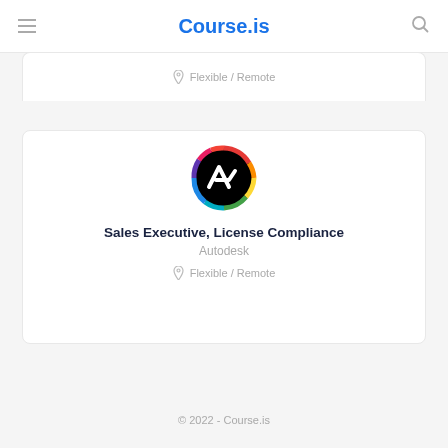Course.is
Flexible / Remote
[Figure (logo): Autodesk logo: a black circle with a rainbow-colored border and a white stylized 'a' arrow shape inside]
Sales Executive, License Compliance
Autodesk
Flexible / Remote
© 2022 - Course.is